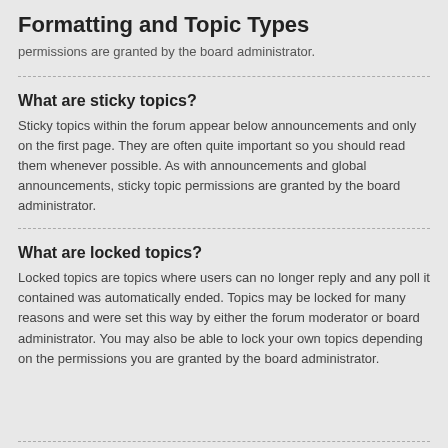Formatting and Topic Types
permissions are granted by the board administrator.
What are sticky topics?
Sticky topics within the forum appear below announcements and only on the first page. They are often quite important so you should read them whenever possible. As with announcements and global announcements, sticky topic permissions are granted by the board administrator.
What are locked topics?
Locked topics are topics where users can no longer reply and any poll it contained was automatically ended. Topics may be locked for many reasons and were set this way by either the forum moderator or board administrator. You may also be able to lock your own topics depending on the permissions you are granted by the board administrator.